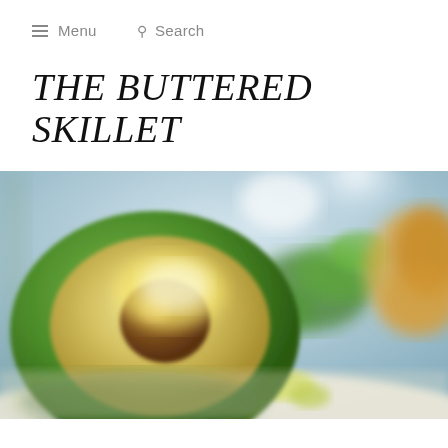≡ Menu   🔍 Search
THE BUTTERED SKILLET
[Figure (photo): Close-up blurred food photo showing a halved avocado with pit visible, surrounded by green herbs, lime wedges, and tortilla chips in the background, on a light surface.]